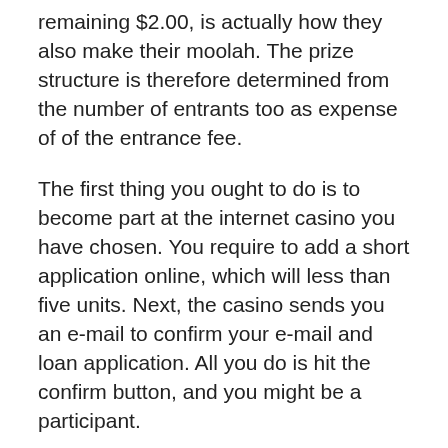remaining $2.00, is actually how they also make their moolah. The prize structure is therefore determined from the number of entrants too as expense of of the entrance fee.
The first thing you ought to do is to become part at the internet casino you have chosen. You require to add a short application online, which will less than five units. Next, the casino sends you an e-mail to confirm your e-mail and loan application. All you do is hit the confirm button, and you might be a participant.
The online casino websites offers prizes in of one's pool products. These products are given by their manufacturer who advertises on expertise site. The few cash prizes are formed in the regarding cash bonuses which will make you to redeem that in the slot game itself. Systems work efficiently feel absolve to enjoying the thrill and exciting most these of our slot...